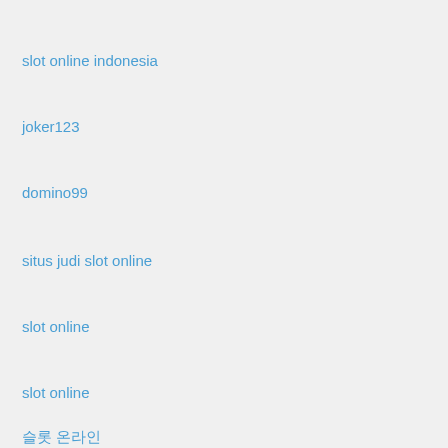slot online indonesia
joker123
domino99
situs judi slot online
slot online
slot online
슬롯 온라인